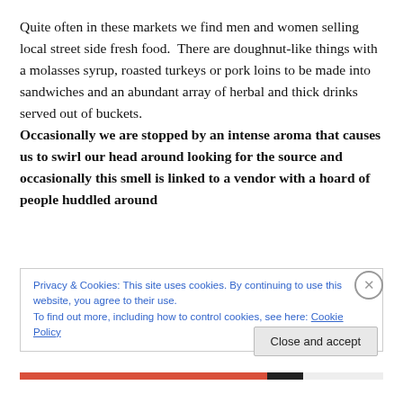Quite often in these markets we find men and women selling local street side fresh food.  There are doughnut-like things with a molasses syrup, roasted turkeys or pork loins to be made into sandwiches and an abundant array of herbal and thick drinks served out of buckets. Occasionally we are stopped by an intense aroma that causes us to swirl our head around looking for the source and occasionally this smell is linked to a vendor with a hoard of people huddled around
Privacy & Cookies: This site uses cookies. By continuing to use this website, you agree to their use.
To find out more, including how to control cookies, see here: Cookie Policy
Close and accept